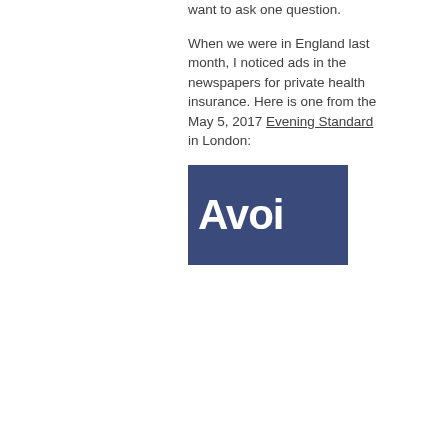want to ask one question.
When we were in England last month, I noticed ads in the newspapers for private health insurance. Here is one from the May 5, 2017 Evening Standard in London:
[Figure (photo): Partial advertisement clipping showing the beginning of the word 'Avoi' in large white bold text on a dark navy/blue background, from the Evening Standard newspaper.]